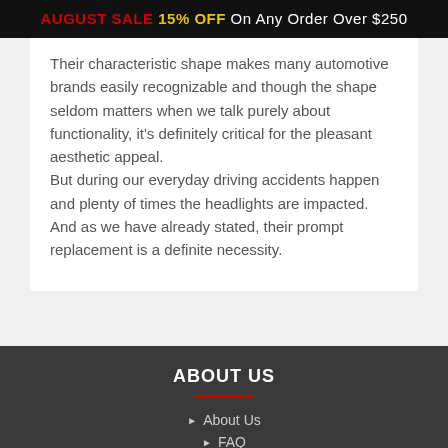AUGUST SALE 15% OFF On Any Order Over $250
Their characteristic shape makes many automotive brands easily recognizable and though the shape seldom matters when we talk purely about functionality, it's definitely critical for the pleasant aesthetic appeal.
But during our everyday driving accidents happen and plenty of times the headlights are impacted. And as we have already stated, their prompt replacement is a definite necessity.
ABOUT US
About Us
FAQ